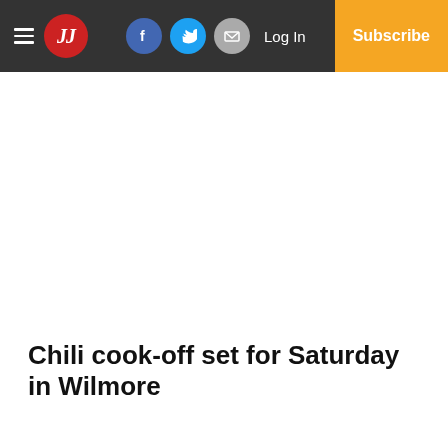JJ | Log In | Subscribe
Chili cook-off set for Saturday in Wilmore